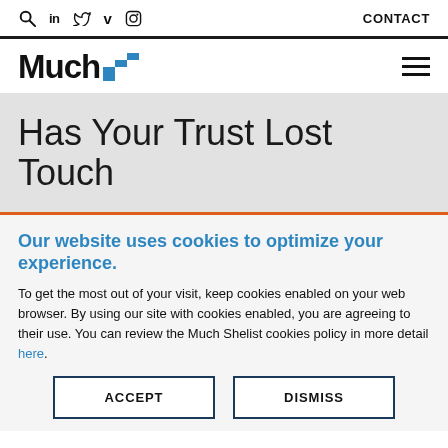Search, LinkedIn, Twitter, Vimeo, Instagram, CONTACT
[Figure (logo): Much logo with blue staircase icon and hamburger menu]
Has Your Trust Lost Touch
Our website uses cookies to optimize your experience.
To get the most out of your visit, keep cookies enabled on your web browser. By using our site with cookies enabled, you are agreeing to their use. You can review the Much Shelist cookies policy in more detail here.
ACCEPT | DISMISS